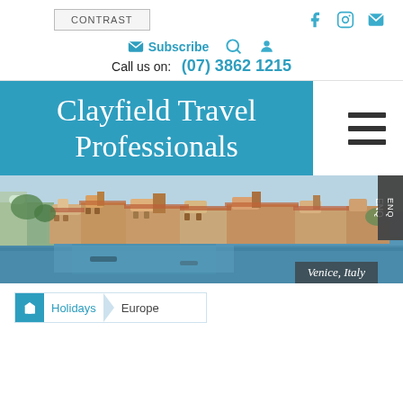CONTRAST | social icons (Facebook, Instagram, Email)
Subscribe | Search | User icon
Call us on: (07) 3862 1215
Clayfield Travel Professionals
[Figure (photo): Aerial view of Venice, Italy showing the Grand Canal, historic buildings with terracotta rooftops, and waterways. Label reads 'Venice, Italy'.]
ENQ
Venice, Italy
Holidays > Europe